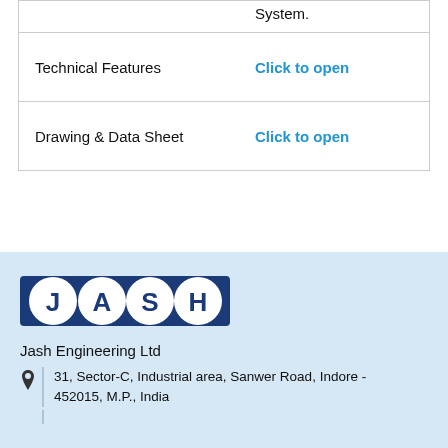|  | System. |
| Technical Features | Click to open |
| Drawing & Data Sheet | Click to open |
[Figure (logo): JASH Engineering Ltd logo — dark blue rectangular banner with four circles each containing letters J, A, S, H in white on blue background]
Jash Engineering Ltd
31, Sector-C, Industrial area, Sanwer Road, Indore - 452015, M.P., India